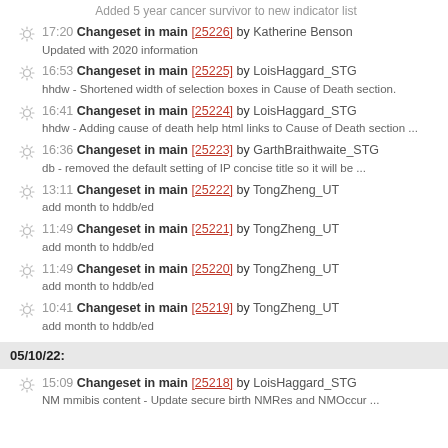Added 5 year cancer survivor to new indicator list
17:20 Changeset in main [25226] by Katherine Benson
Updated with 2020 information
16:53 Changeset in main [25225] by LoisHaggard_STG
hhdw - Shortened width of selection boxes in Cause of Death section.
16:41 Changeset in main [25224] by LoisHaggard_STG
hhdw - Adding cause of death help html links to Cause of Death section ...
16:36 Changeset in main [25223] by GarthBraithwaite_STG
db - removed the default setting of IP concise title so it will be ...
13:11 Changeset in main [25222] by TongZheng_UT
add month to hddb/ed
11:49 Changeset in main [25221] by TongZheng_UT
add month to hddb/ed
11:49 Changeset in main [25220] by TongZheng_UT
add month to hddb/ed
10:41 Changeset in main [25219] by TongZheng_UT
add month to hddb/ed
05/10/22:
15:09 Changeset in main [25218] by LoisHaggard_STG
NM mmibis content - Update secure birth NMRes and NMOccur ...